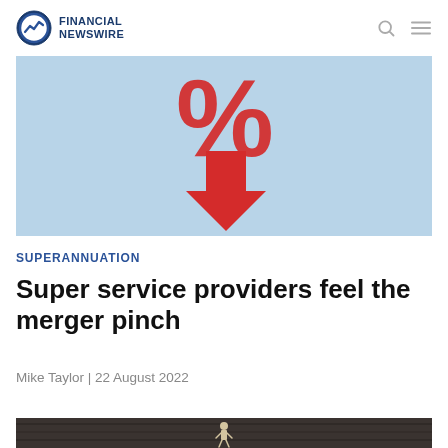Financial Newswire
[Figure (illustration): Light blue background with a large red downward arrow and red percent sign, suggesting falling interest rates or market decline]
SUPERANNUATION
Super service providers feel the merger pinch
Mike Taylor | 22 August 2022
[Figure (photo): Dark wooden background with a small wooden figure running, black and white tones]